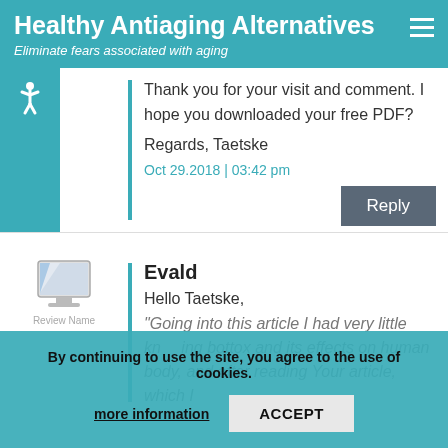Healthy Antiaging Alternatives – Eliminate fears associated with aging
Thank you for your visit and comment. I hope you downloaded your free PDF?

Regards, Taetske
Oct 29.2018 | 03:42 pm
Reply
Evald
Hello Taetske,
Going into this article I had very little knowledge about bottox and its effects on human body, and after reading Your article, which I
By continuing to use the site, you agree to the use of cookies.
more information
ACCEPT